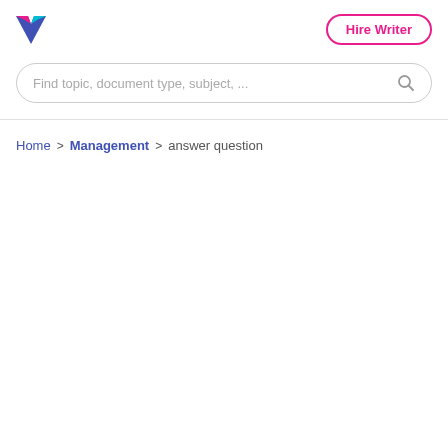Hire Writer
Find topic, document type, subject, ...
Home > Management > answer question